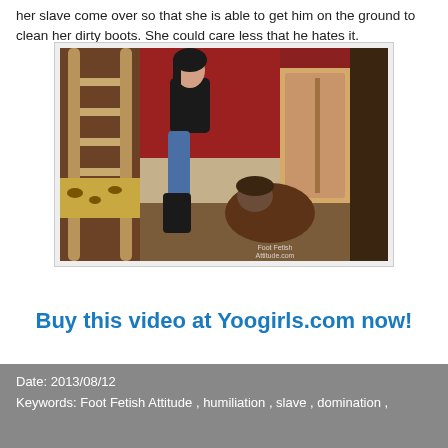her slave come over so that she is able to get him on the ground to clean her dirty boots. She could care less that he hates it.
[Figure (photo): A woman sitting on a bunk bed ladder with her boot extended toward a man kneeling on the floor in a red-walled room. Watermark reads Foot Fetish Attitude.com.]
Buy this video at Yoogirls.com now!
Date: 2013/08/12
Keywords: Foot Fetish Attitude , humiliation , slave , domination ,